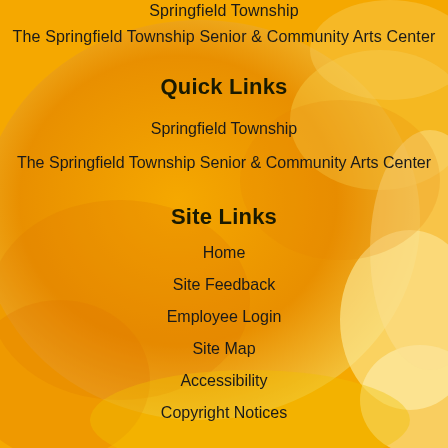Springfield Township
The Springfield Township Senior & Community Arts Center
Quick Links
Springfield Township
The Springfield Township Senior & Community Arts Center
Site Links
Home
Site Feedback
Employee Login
Site Map
Accessibility
Copyright Notices